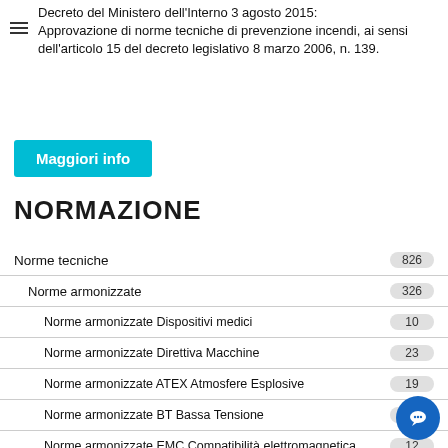Decreto del Ministero dell'Interno 3 agosto 2015: Approvazione di norme tecniche di prevenzione incendi, ai sensi dell'articolo 15 del decreto legislativo 8 marzo 2006, n. 139.
Maggiori info
NORMAZIONE
Norme tecniche 826
Norme armonizzate 326
Norme armonizzate Dispositivi medici 10
Norme armonizzate Direttiva Macchine 23
Norme armonizzate ATEX Atmosfere Esplosive 19
Norme armonizzate BT Bassa Tensione 18
Norme armonizzate EMC Compatibilità elettromagnetica 12
Norme armonizzate DPI Dispositivi Protezione Individuale 20
Norme armonizzate Ascensori 8
Norme armonizzate PED Attrezzature a pressione
Norme armonizzate Giocattoli
Norme armonizzate R&TTE 5